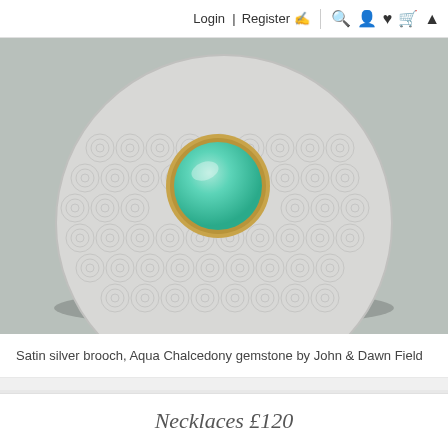Login | Register 🖊 🔍 👤 ♥ 🛒 ▲
[Figure (photo): Close-up photo of a circular satin silver brooch with an embossed concentric circle pattern and an Aqua Chalcedony gemstone set in a gold bezel in the upper center. The brooch rests on a grey-blue surface.]
Satin silver brooch, Aqua Chalcedony gemstone by John & Dawn Field
Necklaces £120